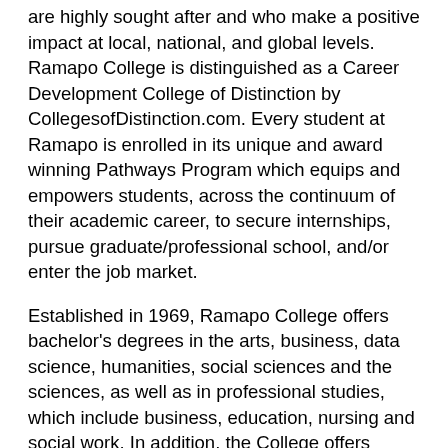are highly sought after and who make a positive impact at local, national, and global levels. Ramapo College is distinguished as a Career Development College of Distinction by CollegesofDistinction.com. Every student at Ramapo is enrolled in its unique and award winning Pathways Program which equips and empowers students, across the continuum of their academic career, to secure internships, pursue graduate/professional school, and/or enter the job market.
Established in 1969, Ramapo College offers bachelor's degrees in the arts, business, data science, humanities, social sciences and the sciences, as well as in professional studies, which include business, education, nursing and social work. In addition, the College offers courses leading to teacher certification at the elementary and secondary levels, and offers graduate programs leading to master's degrees in Accounting, Applied Mathematics,